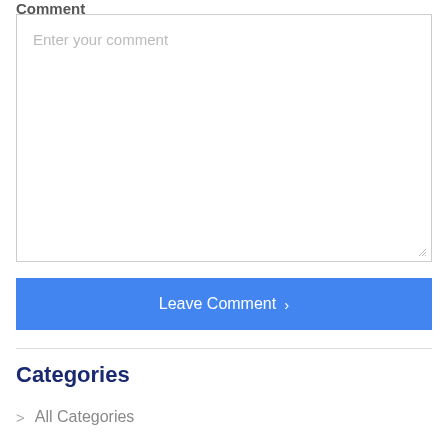Comment
[Figure (screenshot): A large empty textarea input field with placeholder text 'Enter your comment' and a resize handle in the bottom-right corner]
[Figure (screenshot): A blue button labeled 'Leave Comment >' spanning the full width]
Categories
> All Categories